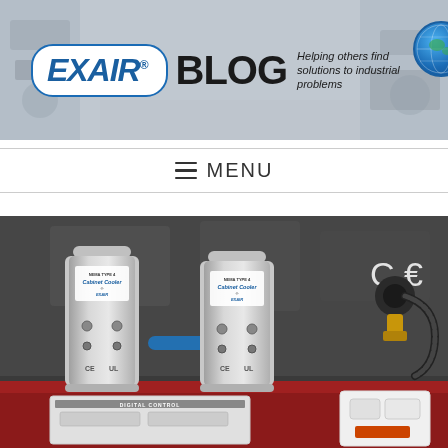[Figure (logo): EXAIR BLOG banner header with logo pill containing EXAIR in italic blue text with registered trademark, BLOG in bold black text, tagline 'Helping others find solutions to industrial problems' in italic, globe icon, on industrial background]
≡ MENU
[Figure (photo): Two EXAIR Cabinet Cooler cylindrical units (NEMA Type 4) mounted on a red control cabinet with CE marking visible, along with electrical fittings and a Digital Control unit panel at bottom. Industrial factory background.]